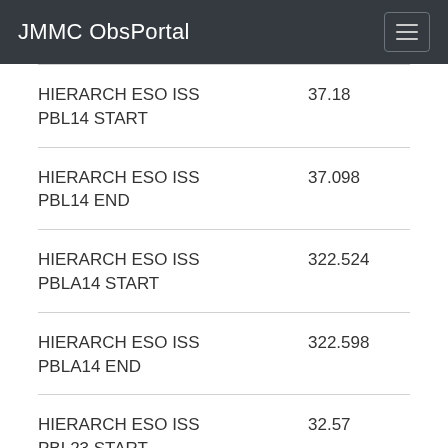JMMC ObsPortal
| Key | Value |
| --- | --- |
| HIERARCH ESO ISS PBL14 START | 37.18 |
| HIERARCH ESO ISS PBL14 END | 37.098 |
| HIERARCH ESO ISS PBLA14 START | 322.524 |
| HIERARCH ESO ISS PBLA14 END | 322.598 |
| HIERARCH ESO ISS PBL23 START | 32.57 |